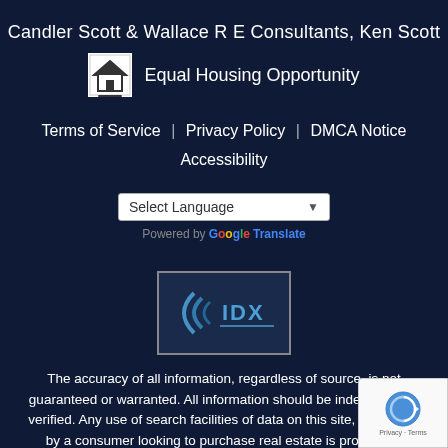Candler Scott & Wallace R E Consultants, Ken Scott
[Figure (logo): Equal Housing Opportunity logo with house icon]
Equal Housing Opportunity
Terms of Service | Privacy Policy | DMCA Notice Accessibility
[Figure (screenshot): Select Language dropdown box with arrow]
Powered by Google Translate
[Figure (logo): IDX logo — dark blue background with stylized parenthesis and IDX text]
The accuracy of all information, regardless of source, is not guaranteed or warranted. All information should be independently verified. Any use of search facilities of data on this site, other than by a consumer looking to purchase real estate is prohibited.